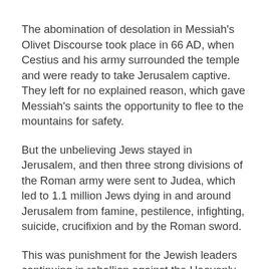The abomination of desolation in Messiah's Olivet Discourse took place in 66 AD, when Cestius and his army surrounded the temple and were ready to take Jerusalem captive. They left for no explained reason, which gave Messiah's saints the opportunity to flee to the mountains for safety.
But the unbelieving Jews stayed in Jerusalem, and then three strong divisions of the Roman army were sent to Judea, which led to 1.1 million Jews dying in and around Jerusalem from famine, pestilence, infighting, suicide, crucifixion and by the Roman sword.
This was punishment for the Jewish leaders continuing in rebellion against the Heavenly Father and delivering His Son up to be killed. It